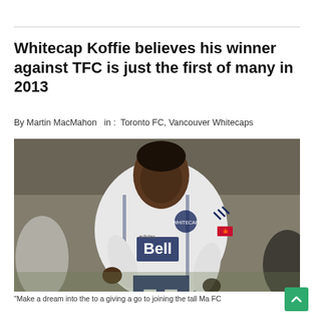Whitecap Koffie believes his winner against TFC is just the first of many in 2013
By Martin MacMahon   in :  Toronto FC, Vancouver Whitecaps
[Figure (photo): A Vancouver Whitecaps player wearing a white Bell jersey with adidas branding and a Canadian flag patch on the sleeve, leaning forward in action during a soccer match.]
"Make a dream into the to a giving a go to joining the tall Ma FC